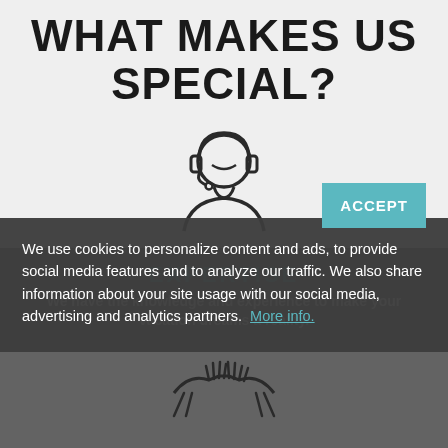WHAT MAKES US SPECIAL?
[Figure (illustration): Line-art icon of a person wearing a headset (customer support agent), outline style in dark gray.]
EXPERTISE
We have the knowledge and experience to make your vacation dreams a reality.
We use cookies to personalize content and ads, to provide social media features and to analyze our traffic. We also share information about your site usage with our social media, advertising and analytics partners. More info.
[Figure (illustration): Line-art icon of two people shaking hands, outline style in dark gray, partially visible at bottom of page.]